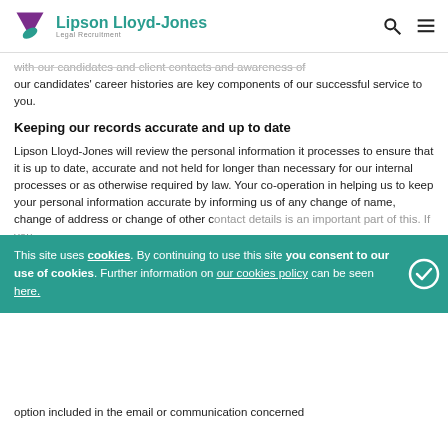Lipson Lloyd-Jones Legal Recruitment
with our candidates and client contacts and awareness of our candidates' career histories are key components of our successful service to you.
Keeping our records accurate and up to date
Lipson Lloyd-Jones will review the personal information it processes to ensure that it is up to date, accurate and not held for longer than necessary for our internal processes or as otherwise required by law. Your co-operation in helping us to keep your personal information accurate by informing us of any change of name, change of address or change of other contact details is an important part of this. If you would like the information about you to be supplied us with your preferences regarding newsletters. If you want to update from us at any time, please use the 'unsubs option included in the email or communication concerned
This site uses cookies. By continuing to use this site you consent to our use of cookies. Further information on our cookies policy can be seen here.